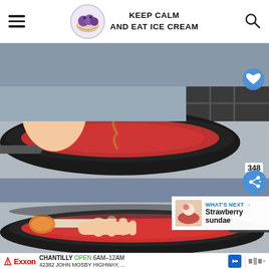KEEP CALM AND EAT ICE CREAM
[Figure (photo): Hand pouring brown sugar from a small pot into a larger saucepan containing red strawberry sauce on a stovetop]
[Figure (photo): Hand holding a measuring spoon with liquid over a pan of strawberry sauce on a stovetop; What's Next callout showing Strawberry sundae]
348
WHAT'S NEXT → Strawberry sundae
CHANTILLY OPEN 6AM–12AM 42382 JOHN MOSBY HIGHWAY, ...